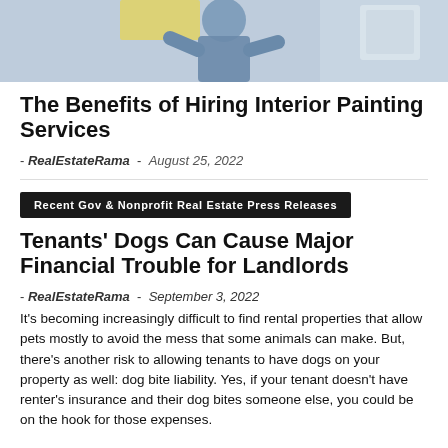[Figure (photo): Photo of a person in blue clothing painting or working indoors, with yellow and white background elements]
The Benefits of Hiring Interior Painting Services
- RealEstateRama - August 25, 2022
Recent Gov & Nonprofit Real Estate Press Releases
Tenants' Dogs Can Cause Major Financial Trouble for Landlords
- RealEstateRama - September 3, 2022
It's becoming increasingly difficult to find rental properties that allow pets mostly to avoid the mess that some animals can make. But, there's another risk to allowing tenants to have dogs on your property as well: dog bite liability. Yes, if your tenant doesn't have renter's insurance and their dog bites someone else, you could be on the hook for those expenses.
GFP Real Estate and Its Tenants Raise More Than